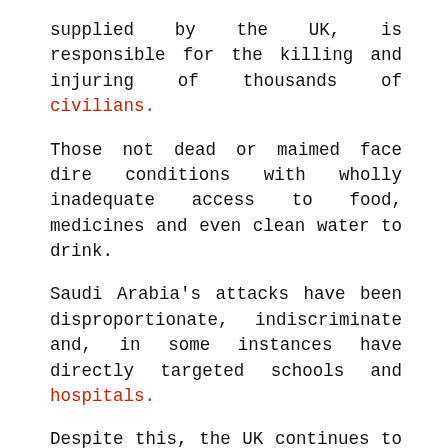supplied by the UK, is responsible for the killing and injuring of thousands of civilians.
Those not dead or maimed face dire conditions with wholly inadequate access to food, medicines and even clean water to drink.
Saudi Arabia's attacks have been disproportionate, indiscriminate and, in some instances have directly targeted schools and hospitals.
Despite this, the UK continues to train, support and arm the Saudi Arabian military.
It has done so largely because Saudi Arabia is the UK's largest trading partner in the Middle East and the UK's top export market for arms.
With a bilateral trade surplus of over £4.5 billion, it is easy to see why people value our trading relationship with Saudi Arabia, which...